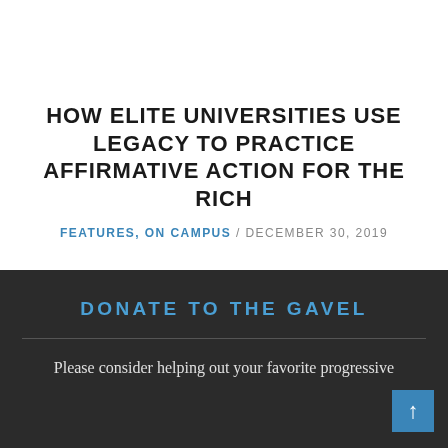HOW ELITE UNIVERSITIES USE LEGACY TO PRACTICE AFFIRMATIVE ACTION FOR THE RICH
FEATURES, ON CAMPUS / DECEMBER 30, 2019
DONATE TO THE GAVEL
Please consider helping out your favorite progressive